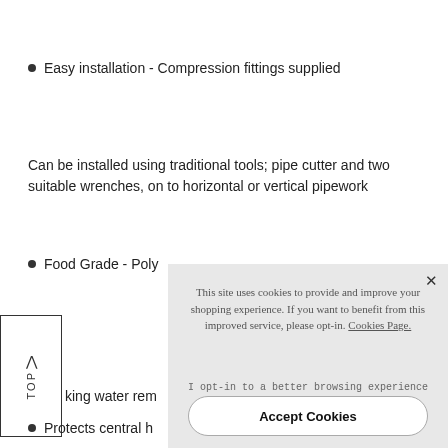Easy installation - Compression fittings supplied
Can be installed using traditional tools; pipe cutter and two suitable wrenches, on to horizontal or vertical pipework
Food Grade - Poly...
king water rem...
Protects central h...
[Figure (screenshot): Cookie consent overlay with message: 'This site uses cookies to provide and improve your shopping experience. If you want to benefit from this improved service, please opt-in. Cookies Page.' with 'I opt-in to a better browsing experience' link and 'Accept Cookies' button.]